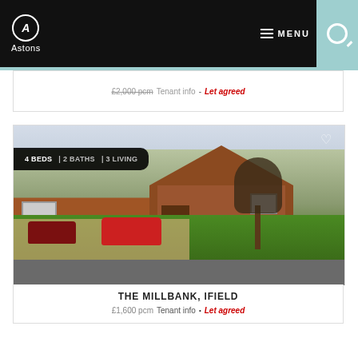Astons — MENU navigation header
£2,000 pcm Tenant info - Let agreed
[Figure (photo): Exterior photo of a 4-bedroom detached house with red brick facade, parked cars on driveway, large green lawn, and bare trees. Located at The Millbank, Ifield.]
4 BEDS | 2 BATHS | 3 LIVING
THE MILLBANK, IFIELD
£1,600 pcm Tenant info • Let agreed